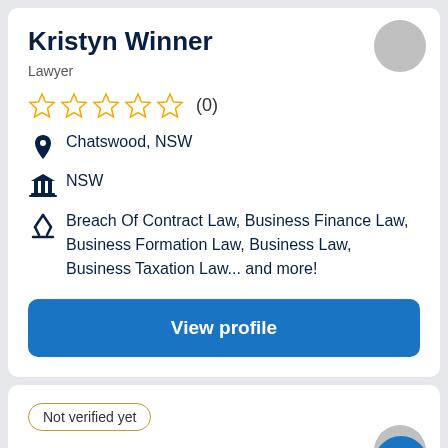Kristyn Winner
Lawyer
☆☆☆☆☆ (0)
Chatswood, NSW
NSW
Breach Of Contract Law, Business Finance Law, Business Formation Law, Business Law, Business Taxation Law... and more!
View profile
Not verified yet
Mogan Day